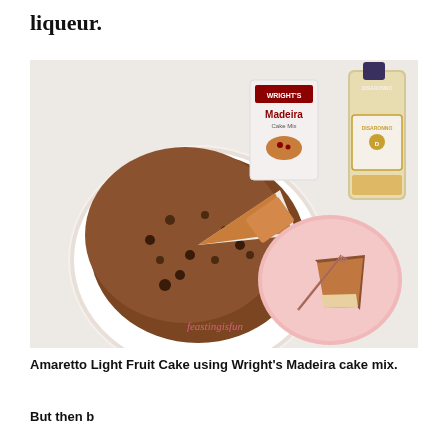liqueur.
[Figure (photo): Photo of an Amaretto Light Fruit Cake made with Wright's Madeira cake mix. A round fruit cake with a slice removed sits on a decorative white plate. A slice of the cake is on a pink plate with a fork. In the background are a box of Wright's Madeira Cake mix and a bottle of Disaronno amaretto liqueur. The watermark 'feastingisfun' appears at the bottom left of the photo.]
Amaretto Light Fruit Cake using Wright's Madeira cake mix.
But then b...delight. S...tt...